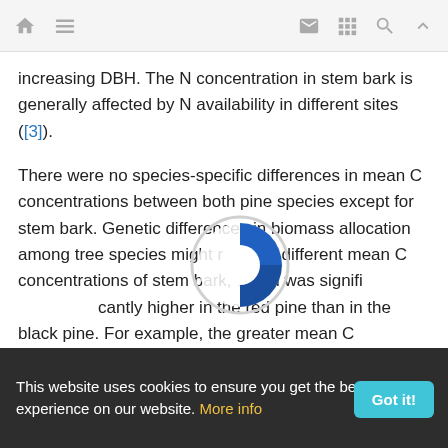Navigation bar with home, menu, mail, grid, search, up icons
increasing DBH. The N concentration in stem bark is generally affected by N availability in different sites ([3]).
There were no species-specific differences in mean C concentrations between both pine species except for stem bark. Genetic differences in biomass allocation among tree species might result in different mean C concentrations of stem bark, which was significantly higher in the red pine than in the black pine. For example, the greater mean C concentration of bark tissues in red pine is likely due to a difference in bark thickness and branch biomass compared to black pine. In this study, the mean bark biomass of the sampled red pines was 9.9 kg tree⁻¹, whereas that of black pines was
This website uses cookies to ensure you get the best experience on our website. More info  Got it!